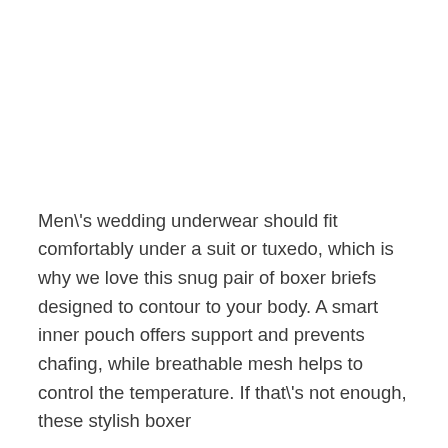Men\'s wedding underwear should fit comfortably under a suit or tuxedo, which is why we love this snug pair of boxer briefs designed to contour to your body. A smart inner pouch offers support and prevents chafing, while breathable mesh helps to control the temperature. If that\'s not enough, these stylish boxer